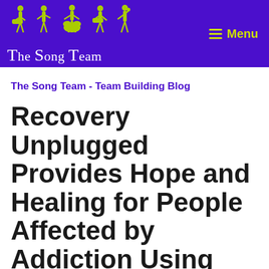The Song Team — Menu
The Song Team - Team Building Blog
Recovery Unplugged Provides Hope and Healing for People Affected by Addiction Using the Power of